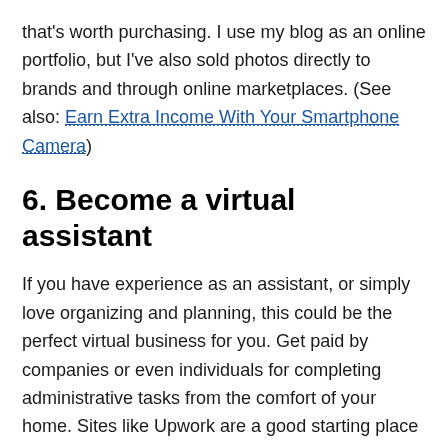that's worth purchasing. I use my blog as an online portfolio, but I've also sold photos directly to brands and through online marketplaces. (See also: Earn Extra Income With Your Smartphone Camera)
6. Become a virtual assistant
If you have experience as an assistant, or simply love organizing and planning, this could be the perfect virtual business for you. Get paid by companies or even individuals for completing administrative tasks from the comfort of your home. Sites like Upwork are a good starting place to find clients, but there are also a lot of niche agencies that are constantly on the lookout for reliable assistants.
A lot of virtual assistant work will require previous experience, but not all of it. I've personally hired VAs to do